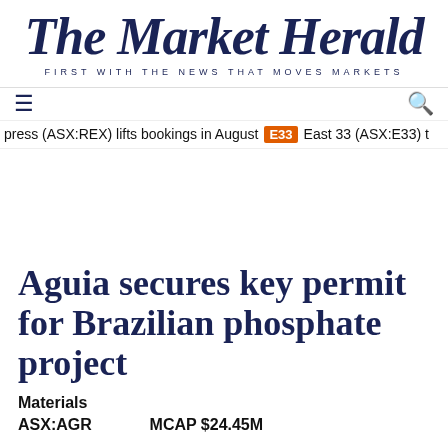The Market Herald
FIRST WITH THE NEWS THAT MOVES MARKETS
≡   🔍
press (ASX:REX) lifts bookings in August   E33   East 33 (ASX:E33) t
Aguia secures key permit for Brazilian phosphate project
Materials
ASX:AGR   MCAP $24.45M